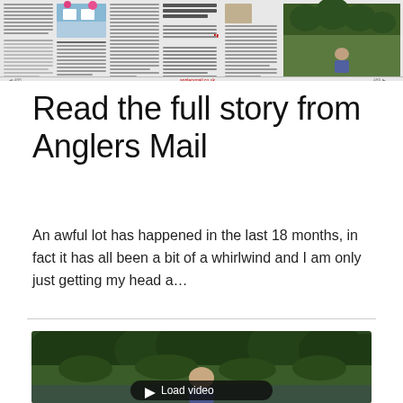[Figure (screenshot): Scanned newspaper page strip showing multiple columns of small text, photos of a colorful building and a nature scene, a red quotation mark accent, and a forest/nature photograph on the right.]
Read the full story from Anglers Mail
An awful lot has happened in the last 18 months, in fact it has all been a bit of a whirlwind and I am only just getting my head a…
[Figure (photo): A person fishing or sitting on a boat on a river or lake surrounded by lush green trees, with a 'Load video' play button overlay.]